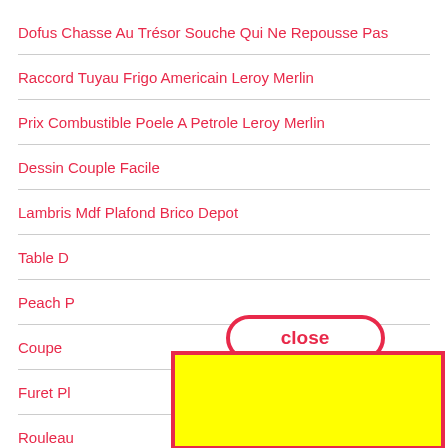Dofus Chasse Au Trésor Souche Qui Ne Repousse Pas
Raccord Tuyau Frigo Americain Leroy Merlin
Prix Combustible Poele A Petrole Leroy Merlin
Dessin Couple Facile
Lambris Mdf Plafond Brico Depot
Table D…
Peach P…
Coupe …
Furet Pl…
Rouleau…
Volet Pe…
[Figure (screenshot): A 'close' button overlaid on the list, with a large yellow rectangle with red border covering lower portion of the list items]